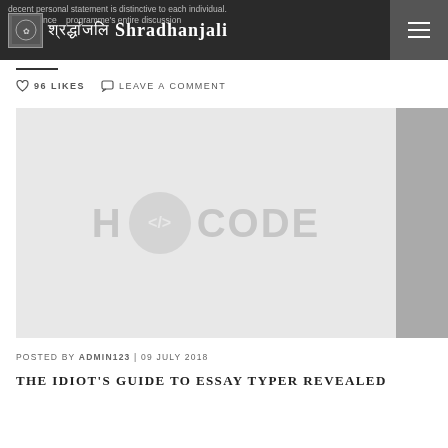Shradhanjali
decent personal statement is distinctive to each individual. experience the programme's entire discussion
♡ 96 LIKES   ☐ LEAVE A COMMENT
[Figure (screenshot): H CODE watermark placeholder image in light gray with dark gray sidebar on right]
POSTED BY ADMIN123 | 09 JULY 2018
THE IDIOT'S GUIDE TO ESSAY TYPER REVEALED